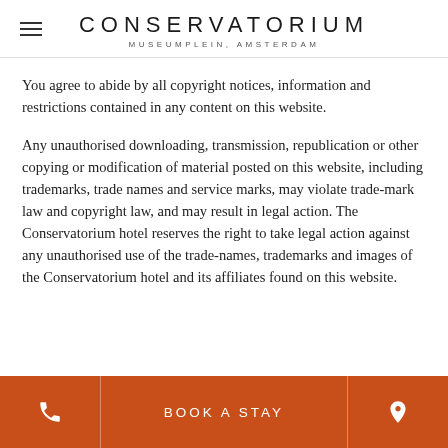CONSERVATORIUM — MUSEUMPLEIN, AMSTERDAM
You agree to abide by all copyright notices, information and restrictions contained in any content on this website.
Any unauthorised downloading, transmission, republication or other copying or modification of material posted on this website, including trademarks, trade names and service marks, may violate trade-mark law and copyright law, and may result in legal action. The Conservatorium hotel reserves the right to take legal action against any unauthorised use of the trade-names, trademarks and images of the Conservatorium hotel and its affiliates found on this website.
BOOK A STAY